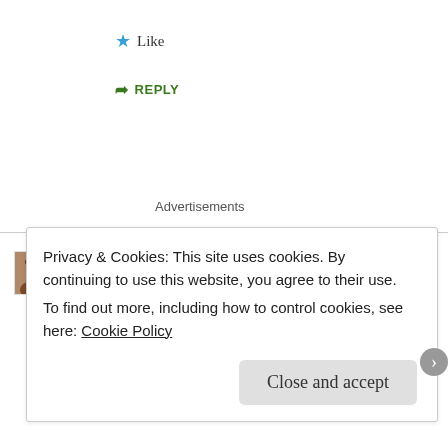Like
REPLY
Advertisements
Rena Traxel
JANUARY 17, 2012 AT 1:29 PM
Privacy & Cookies: This site uses cookies. By continuing to use this website, you agree to their use.
To find out more, including how to control cookies, see here: Cookie Policy
Close and accept